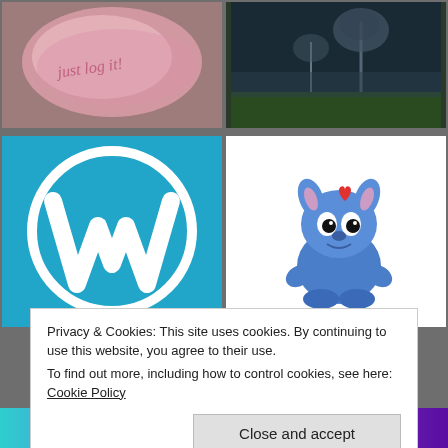[Figure (illustration): Top-left thumbnail: pink watercolor background with cursive script text 'just log it!']
[Figure (photo): Top-right thumbnail: dark moody nature photo with misty trees and green grass]
[Figure (logo): Middle-left: WordPress logo — white W in circle on blue (#21a5c8) background]
[Figure (illustration): Middle-right: Cartoon illustration of Stitch (Disney character) sitting cutely with a small red heart above head, on white background]
Privacy & Cookies: This site uses cookies. By continuing to use this website, you agree to their use.
To find out more, including how to control cookies, see here: Cookie Policy
Close and accept
[Figure (illustration): Bottom strip: colorful gradient banner (teal to purple)]